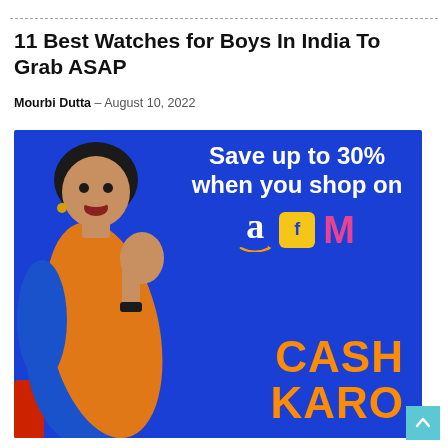11 Best Watches for Boys In India To Grab ASAP
Mourbi Dutta – August 10, 2022
[Figure (photo): Advertisement banner for CashKaro showing a woman in Indian clothing on a blue background, with text 'Save up to 30% when you shop on' and logos for Amazon, Flipkart, and Meesho, along with the CashKaro brand name in orange.]